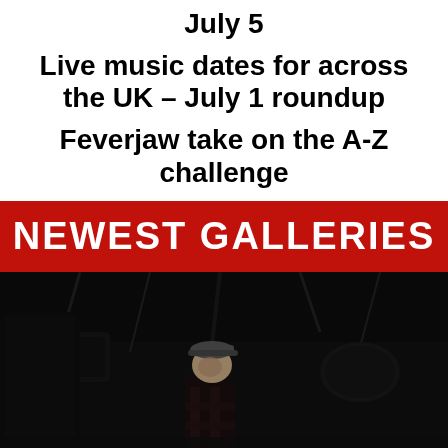July 5
Live music dates for across the UK – July 1 roundup
Feverjaw take on the A-Z challenge
[Figure (infographic): Red banner with white handwritten-style text reading NEWEST GALLERIES]
[Figure (photo): Concert photo of a performer on stage with dark background and stage equipment, wearing a cap and performing into a microphone]